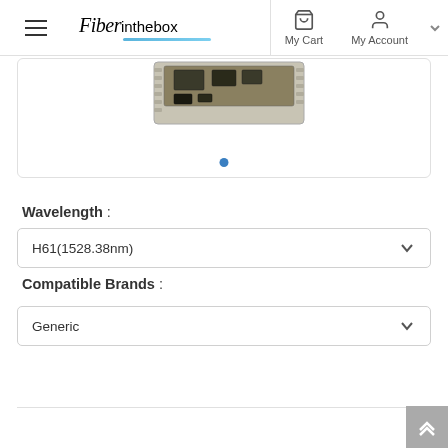[Figure (screenshot): Website header/navigation bar showing Fiberinthebox logo, hamburger menu, My Cart and My Account icons, and a dropdown chevron]
[Figure (photo): Product photo showing a fiber optic transceiver module (SFP or similar) in beige/gray color with electronic components visible on top]
Wavelength :
H61(1528.38nm)
Compatible Brands :
Generic